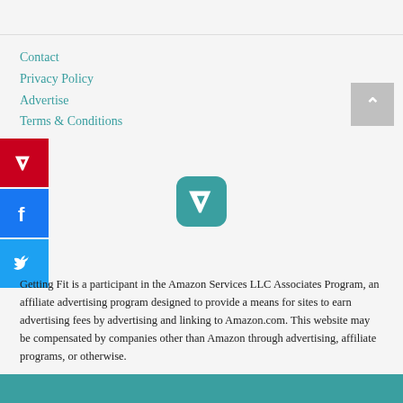Contact
Privacy Policy
Advertise
Terms & Conditions
[Figure (logo): Pinterest social share button (red background with white P icon)]
[Figure (logo): Facebook social share button (blue background with white f icon)]
[Figure (logo): Twitter social share button (blue background with white bird icon)]
[Figure (logo): Pinterest app icon (teal rounded square with white P)]
[Figure (logo): Back to top button (grey square with white caret up)]
Getting Fit is a participant in the Amazon Services LLC Associates Program, an affiliate advertising program designed to provide a means for sites to earn advertising fees by advertising and linking to Amazon.com. This website may be compensated by companies other than Amazon through advertising, affiliate programs, or otherwise.